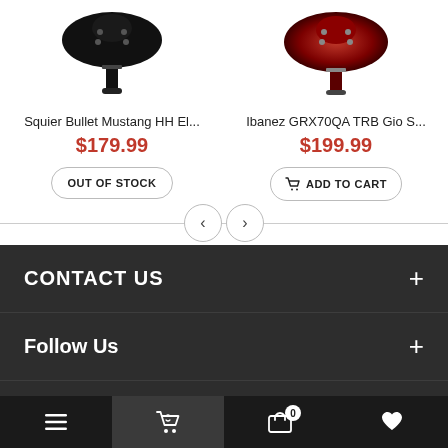[Figure (photo): Squier Bullet Mustang HH Electric Guitar product image (black guitar, partial top view)]
[Figure (photo): Ibanez GRX70QA TRB Gio Series guitar product image (red burst quilted top, partial view)]
Squier Bullet Mustang HH El...
$179.99
OUT OF STOCK
Ibanez GRX70QA TRB Gio S...
$199.99
ADD TO CART
CONTACT US
Follow Us
HOURS
Newsletter